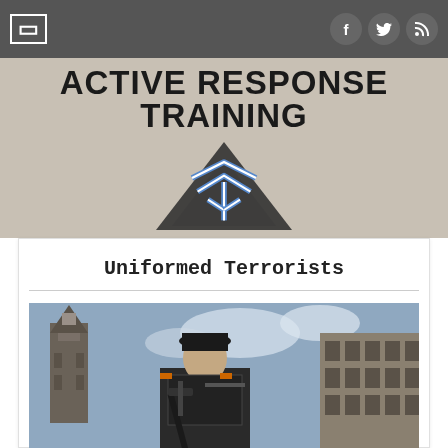Active Response Training - navigation bar with social icons
[Figure (logo): Active Response Training website header with bold uppercase text 'ACTIVE RESPONSE TRAINING' and a dark triangular logo mark with blue chevron/Y shape below the text, on a gray textured background]
Uniformed Terrorists
[Figure (photo): Low-angle photo of an armed uniformed soldier or police officer in dark tactical gear holding an assault rifle, standing in front of a European-style city street with a church tower visible on the left and ornate building facade on the right, against a partly cloudy sky]